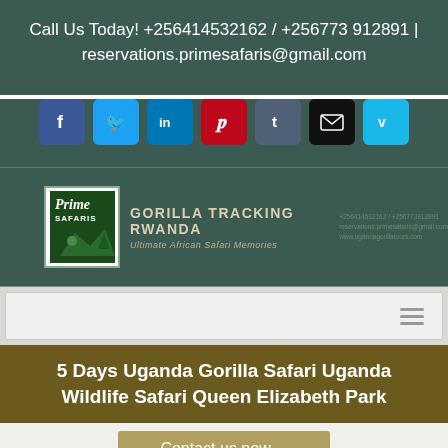Call Us Today! +256414532162 / +256773 912891 | reservations.primesafaris@gmail.com
[Figure (infographic): Row of 7 social media icon buttons: Facebook (blue), Twitter (light blue), LinkedIn (blue), Pinterest (red), Tumblr (slate), Email (black), Vimeo (cyan)]
[Figure (logo): Prime Safaris logo with gorilla tracking Rwanda text and safari tagline]
[Figure (screenshot): Navigation bar with hamburger menu icon]
5 Days Uganda Gorilla Safari Uganda Wildlife Safari Queen Elizabeth Park
Contact us now....